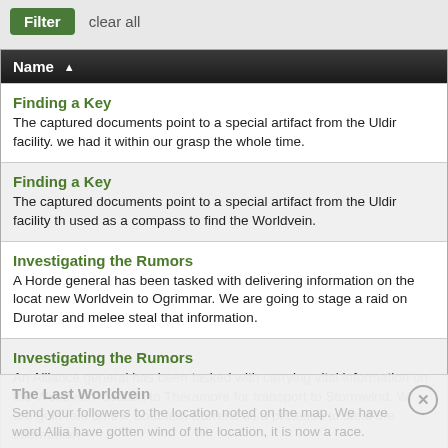Filter   clear all
| Name |
| --- |
| Finding a Key | The captured documents point to a special artifact from the Uldir facility. we had it within our grasp the whole time. |
| Finding a Key | The captured documents point to a special artifact from the Uldir facility th used as a compass to find the Worldvein. |
| Investigating the Rumors | A Horde general has been tasked with delivering information on the locat new Worldvein to Ogrimmar. We are going to stage a raid on Durotar and melee steal that information. |
| Investigating the Rumors | An Alliance general has been tasked with carrying vital information on the Worldvein location to Theramore for transport to Stormwind. We are goin raid on the Southern Barrens as a pretense to steal the information. |
| The Last Worldvein | Send your followers to the location noted on the map. We have word Hor have gotten wind of the location, it is now a race. |
The Last Worldvein — Send your followers to the location noted on the map. We have word Allia have gotten wind of the location, it is now a race.